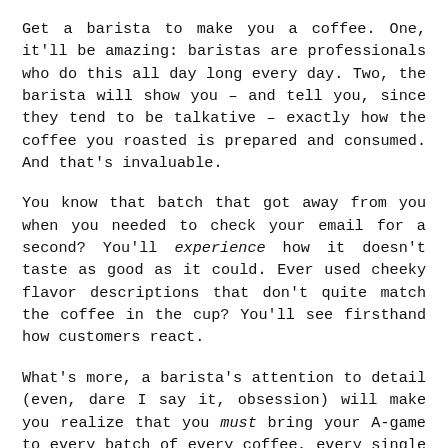Get a barista to make you a coffee. One, it'll be amazing: baristas are professionals who do this all day long every day. Two, the barista will show you – and tell you, since they tend to be talkative – exactly how the coffee you roasted is prepared and consumed. And that's invaluable.
You know that batch that got away from you when you needed to check your email for a second? You'll experience how it doesn't taste as good as it could. Ever used cheeky flavor descriptions that don't quite match the coffee in the cup? You'll see firsthand how customers react.
What's more, a barista's attention to detail (even, dare I say it, obsession) will make you realize that you must bring your A-game to every batch of every coffee, every single day. Even for the coffees you don't like as much.
Seeing how hard baristas work to make every drink freaking